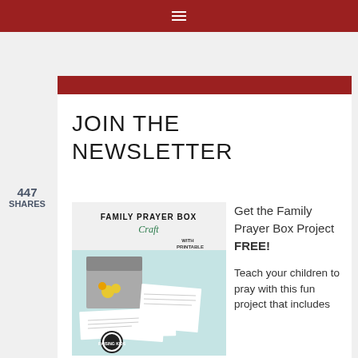Navigation menu bar
447
SHARES
JOIN THE NEWSLETTER
[Figure (illustration): Family Prayer Box Craft with printable prayer cards — image showing a decorated box with prayer cards scattered around it, with a circular logo at the bottom]
Get the Family Prayer Box Project FREE!

Teach your children to pray with this fun project that includes 7 printable sets!